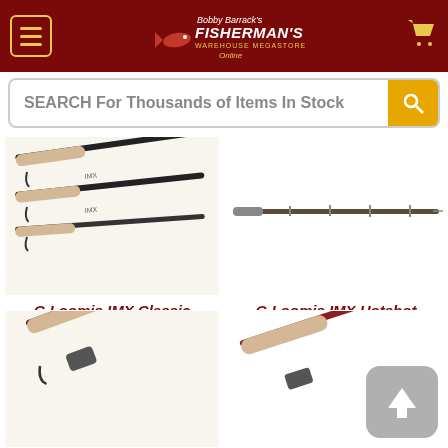Bobby Barrack's Fisherman's Warehouse Megastore Online
SEARCH For Thousands of Items In Stock
[Figure (photo): Multiple G Loomis IMX Classic Steelhead Casting Rods shown at angle, with cork grips and black rod blanks]
G Loomis IMX Classic Steelhead Casting Rods
$420.99
[Figure (photo): G Loomis IMX Hotshot Casting Rod shown horizontally, full length view]
G Loomis IMX Hotshot Casting Rod
$365.99
[Figure (photo): Fishing rod handle detail showing cork grip and reel seat, lower left product]
[Figure (photo): Fishing rod handle detail showing cork grip, lower right product, partially obscured by back-to-top button]